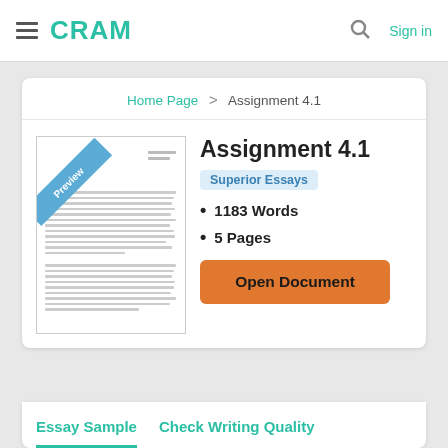CRAM   Sign in
Home Page > Assignment 4.1
[Figure (illustration): Preview thumbnail of a document page with a diagonal 'Preview' badge in the top left corner and blurred text lines]
Assignment 4.1
Superior Essays
1183 Words
5 Pages
Open Document
Essay Sample   Check Writing Quality